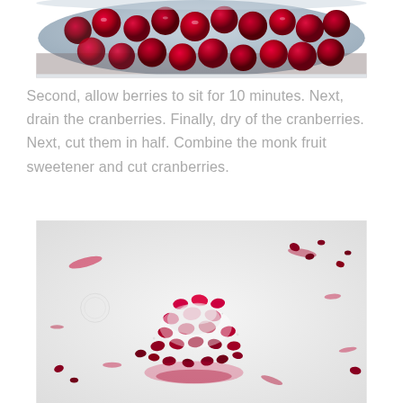[Figure (photo): Close-up photo of fresh whole cranberries in a glass bowl with water, showing glistening red berries.]
Second, allow berries to sit for 10 minutes. Next, drain the cranberries. Finally, dry of the cranberries. Next, cut them in half. Combine the monk fruit sweetener and cut cranberries.
[Figure (photo): Photo of halved cranberries mixed with white powdered monk fruit sweetener on a white surface, with red juice stains scattered around.]